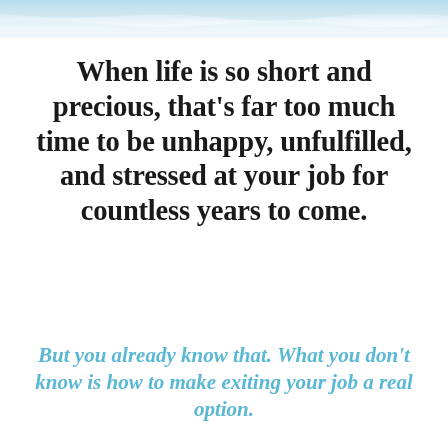[Figure (illustration): Light blue watercolor wash decorative bar across the top of the page]
When life is so short and precious, that's far too much time to be unhappy, unfulfilled, and stressed at your job for countless years to come.
But you already know that. What you don't know is how to make exiting your job a real option.